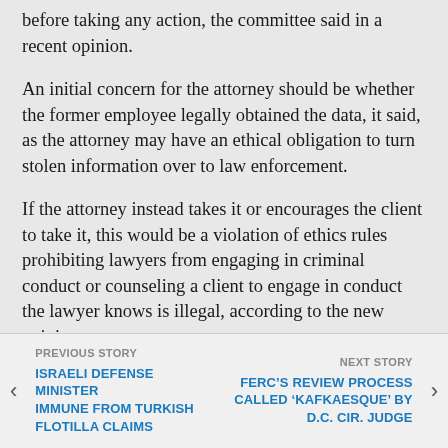before taking any action, the committee said in a recent opinion.
An initial concern for the attorney should be whether the former employee legally obtained the data, it said, as the attorney may have an ethical obligation to turn stolen information over to law enforcement.
If the attorney instead takes it or encourages the client to take it, this would be a violation of ethics rules prohibiting lawyers from engaging in criminal conduct or counseling a client to engage in conduct the lawyer knows is illegal, according to the new opinion.
An attorney who’s not sure whether the former employee is in legal possession of the proffered
PREVIOUS STORY | ISRAELI DEFENSE MINISTER IMMUNE FROM TURKISH FLOTILLA CLAIMS || NEXT STORY | FERC'S REVIEW PROCESS CALLED ‘KAFKAESQUE’ BY D.C. CIR. JUDGE